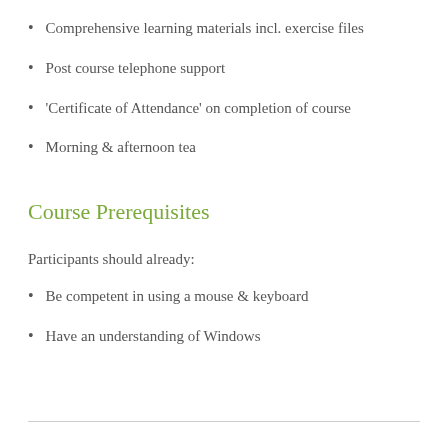Comprehensive learning materials incl. exercise files
Post course telephone support
'Certificate of Attendance' on completion of course
Morning & afternoon tea
Course Prerequisites
Participants should already:
Be competent in using a mouse & keyboard
Have an understanding of Windows